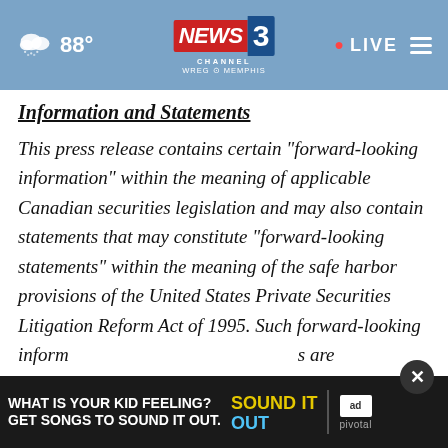88° NEWS CHANNEL 3 WREG MEMPHIS • LIVE
Information and Statements
This press release contains certain "forward-looking information" within the meaning of applicable Canadian securities legislation and may also contain statements that may constitute "forward-looking statements" within the meaning of the safe harbor provisions of the United States Private Securities Litigation Reform Act of 1995. Such forward-looking information ... s are not representative of historical facts or
[Figure (screenshot): Ad banner: WHAT IS YOUR KID FEELING? GET SONGS TO SOUND IT OUT. with Sound It Out logo, Ad Council logo, and pivotal branding]